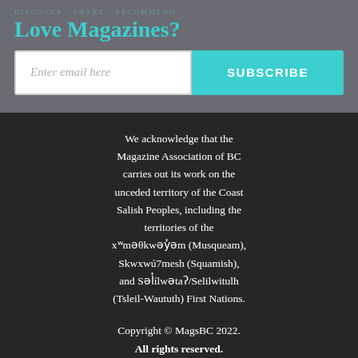Love Magazines?
Enter email here
SUBSCRIBE
We acknowledge that the Magazine Association of BC carries out its work on the unceded territory of the Coast Salish Peoples, including the territories of the xʷməθkwəy̓əm (Musqueam), Skwxwú7mesh (Squamish), and Səl̓ílwətaʔ/Selilwitulh (Tsleil-Waututh) First Nations.
Copyright © MagsBC 2022. All rights reserved.